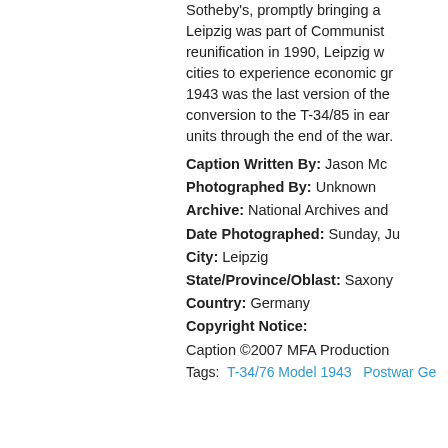Sotheby's, promptly bringing a ... Leipzig was part of Communist ... reunification in 1990, Leipzig w... cities to experience economic gr... 1943 was the last version of the ... conversion to the T-34/85 in ear... units through the end of the war.
Caption Written By: Jason Mc...
Photographed By: Unknown
Archive: National Archives and...
Date Photographed: Sunday, Ju...
City: Leipzig
State/Province/Oblast: Saxony...
Country: Germany
Copyright Notice:
Caption ©2007 MFA Production...
Tags: T-34/76 Model 1943   Postwar Ge...